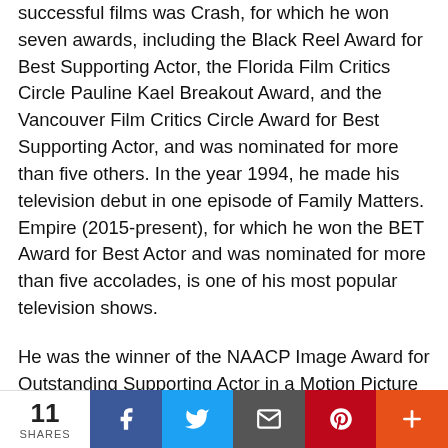successful films was Crash, for which he won seven awards, including the Black Reel Award for Best Supporting Actor, the Florida Film Critics Circle Pauline Kael Breakout Award, and the Vancouver Film Critics Circle Award for Best Supporting Actor, and was nominated for more than five others. In the year 1994, he made his television debut in one episode of Family Matters. Empire (2015-present), for which he won the BET Award for Best Actor and was nominated for more than five accolades, is one of his most popular television shows.
He was the winner of the NAACP Image Award for Outstanding Supporting Actor in a Motion Picture and was shortlisted for more than three awards for his role as "Quentin Spivey" in the movie "The Best Man" in the year 1999. In his entire life, one of his most successful films was "Crash," for which he won seven awards, including the "Black Reel Award for Best Supporting Actor," the "Florida Film Critics Circle Pauline Kael Breakout Award," and the "Vancouver Film Critics Circle Award for Best Supporting Actor," and was shortlisted for more than five others. In the
11 SHARES  [Facebook] [Twitter] [Email] [Pinterest] [More]